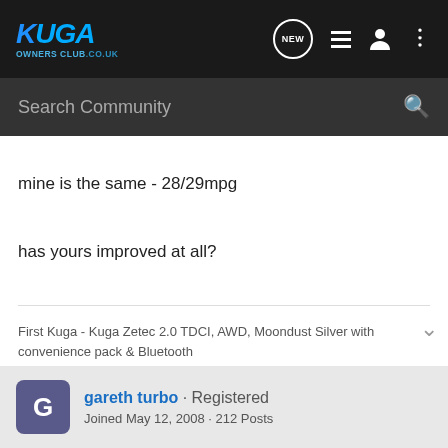Kuga Owners Club - Search Community
mine is the same - 28/29mpg
has yours improved at all?
First Kuga - Kuga Zetec 2.0 TDCI, AWD, Moondust Silver with convenience pack & Bluetooth
gareth turbo · Registered
Joined May 12, 2008 · 212 Posts